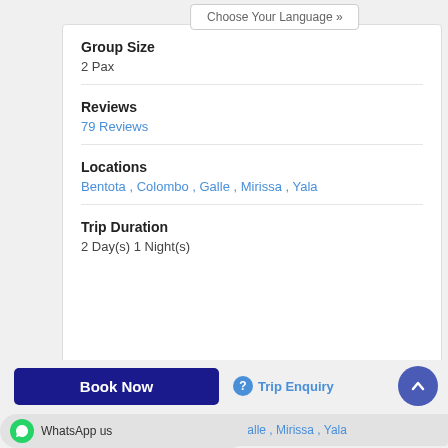Choose Your Language »
Group Size
2 Pax
Reviews
79 Reviews
Locations
Bentota , Colombo , Galle , Mirissa , Yala
Trip Duration
2 Day(s) 1 Night(s)
Book Now
Trip Enquiry
WhatsApp us
ombo , Galle , Mirissa , Yala